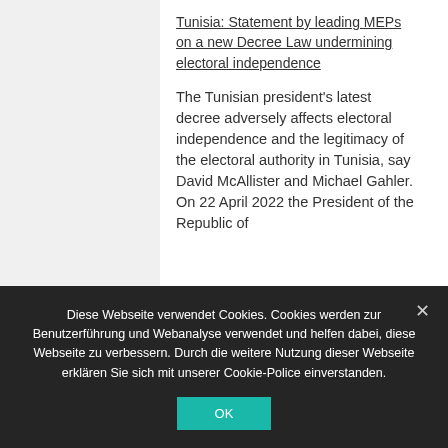Tunisia: Statement by leading MEPs on a new Decree Law undermining electoral independence
The Tunisian president's latest decree adversely affects electoral independence and the legitimacy of the electoral authority in Tunisia, say David McAllister and Michael Gahler. On 22 April 2022 the President of the Republic of
Diese Webseite verwendet Cookies. Cookies werden zur Benutzerführung und Webanalyse verwendet und helfen dabei, diese Webseite zu verbessern. Durch die weitere Nutzung dieser Webseite erklären Sie sich mit unserer Cookie-Police einverstanden.